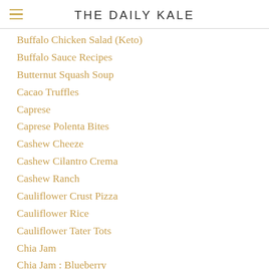THE DAILY KALE
Buffalo Chicken Salad (Keto)
Buffalo Sauce Recipes
Butternut Squash Soup
Cacao Truffles
Caprese
Caprese Polenta Bites
Cashew Cheeze
Cashew Cilantro Crema
Cashew Ranch
Cauliflower Crust Pizza
Cauliflower Rice
Cauliflower Tater Tots
Chia Jam
Chia Jam : Blueberry
Chia Pudding
Chicken Satay
Chickpea Curry Taquitos